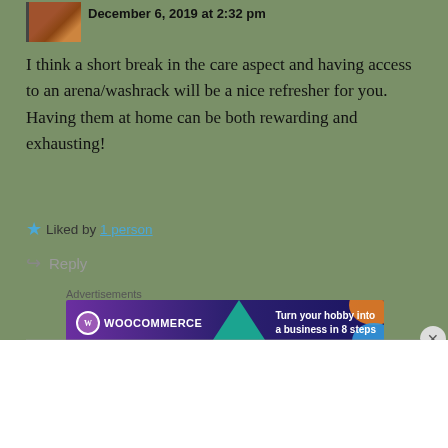December 6, 2019 at 2:32 pm
I think a short break in the care aspect and having access to an arena/washrack will be a nice refresher for you. Having them at home can be both rewarding and exhausting!
Liked by 1 person
Reply
Advertisements
[Figure (screenshot): WooCommerce advertisement banner: purple/dark background with WooCommerce logo and text 'Turn your hobby into a business in 8 steps' with colorful triangle and circle decorations]
Advertisements
[Figure (screenshot): WordPress.com advertisement banner: dark blue background with WordPress logo and 'WordPress.com' text, and a pink 'Build Your Website' button]